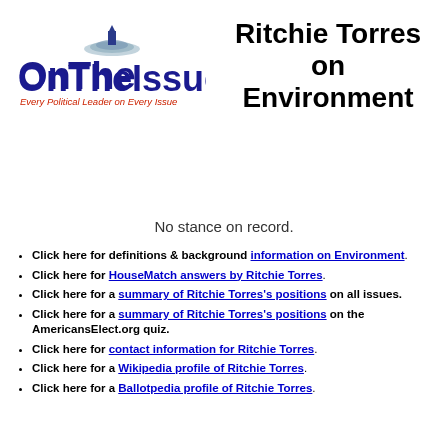[Figure (logo): OnTheIssues logo with capitol dome graphic and tagline 'Every Political Leader on Every Issue']
Ritchie Torres on Environment
No stance on record.
Click here for definitions & background information on Environment.
Click here for HouseMatch answers by Ritchie Torres.
Click here for a summary of Ritchie Torres's positions on all issues.
Click here for a summary of Ritchie Torres's positions on the AmericansElect.org quiz.
Click here for contact information for Ritchie Torres.
Click here for a Wikipedia profile of Ritchie Torres.
Click here for a Ballotpedia profile of Ritchie Torres.